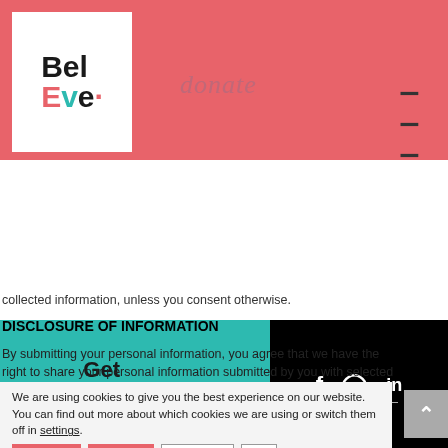[Figure (logo): BelEve logo — white box with coral/teal lettering, on coral pink header bar with 'donate' in cursive and hamburger menu]
[Figure (infographic): Teal nav bar with 'Get Involved' text and black social bar with Facebook, Instagram, LinkedIn icons]
collected information, unless you consent otherwise.
DISCLOSURE OF INFORMATION
By submitting your personal information, you agree that we have the right to share your personal information submitted by you with selected third parties including:
We are using cookies to give you the best experience on our website.
You can find out more about which cookies we are using or switch them off in settings.
Accept   Reject   Settings   ×